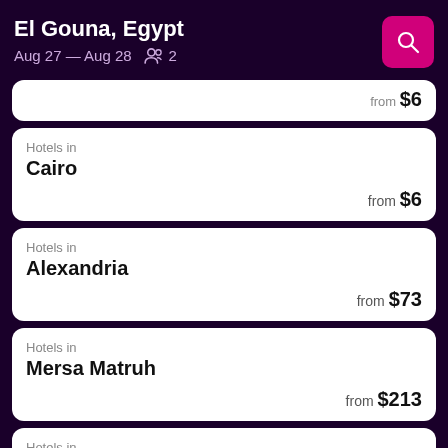El Gouna, Egypt
Aug 27 — Aug 28   2
Hotels in
from $6
Hotels in
Cairo
from $6
Hotels in
Alexandria
from $73
Hotels in
Mersa Matruh
from $213
Hotels in
Dahab
from $62
Hotels in